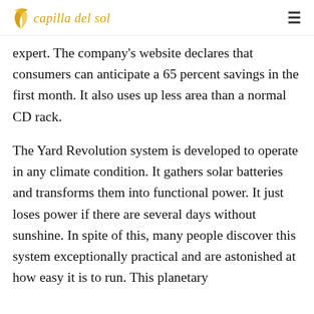capilla del sol
expert. The company's website declares that consumers can anticipate a 65 percent savings in the first month. It also uses up less area than a normal CD rack.
The Yard Revolution system is developed to operate in any climate condition. It gathers solar batteries and transforms them into functional power. It just loses power if there are several days without sunshine. In spite of this, many people discover this system exceptionally practical and are astonished at how easy it is to run. This planetary